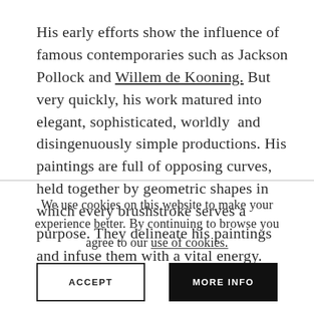His early efforts show the influence of famous contemporaries such as Jackson Pollock and Willem de Kooning. But very quickly, his work matured into elegant, sophisticated, worldly and disingenuously simple productions. His paintings are full of opposing curves, held together by geometric shapes in which every brushstroke serves a purpose. They delineate his paintings and infuse them with a vital energy.
We use cookies on this website to make your experience better. By continuing to browse you agree to our use of cookies.
ACCEPT
MORE INFO